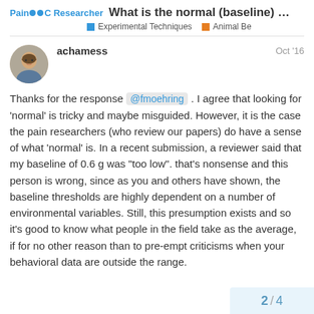Pain Researcher — What is the normal (baseline) respo... — Experimental Techniques | Animal Be
achamess — Oct '16
Thanks for the response @fmoehring . I agree that looking for 'normal' is tricky and maybe misguided. However, it is the case the pain researchers (who review our papers) do have a sense of what 'normal' is. In a recent submission, a reviewer said that my baseline of 0.6 g was "too low". that's nonsense and this person is wrong, since as you and others have shown, the baseline thresholds are highly dependent on a number of environmental variables. Still, this presumption exists and so it's good to know what people in the field take as the average, if for no other reason than to pre-empt criticisms when your behavioral data are outside the range.
2 / 4